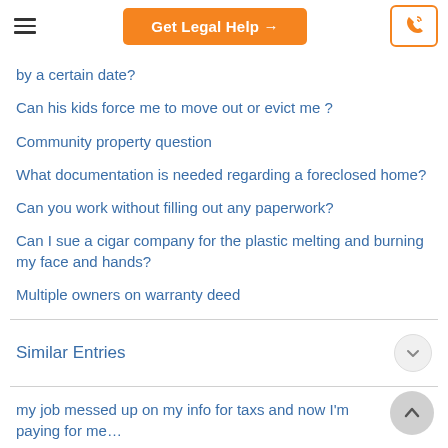Get Legal Help →
by a certain date?
Can his kids force me to move out or evict me ?
Community property question
What documentation is needed regarding a foreclosed home?
Can you work without filling out any paperwork?
Can I sue a cigar company for the plastic melting and burning my face and hands?
Multiple owners on warranty deed
Similar Entries
my job messed up on my info for taxs and now I'm paying for me…